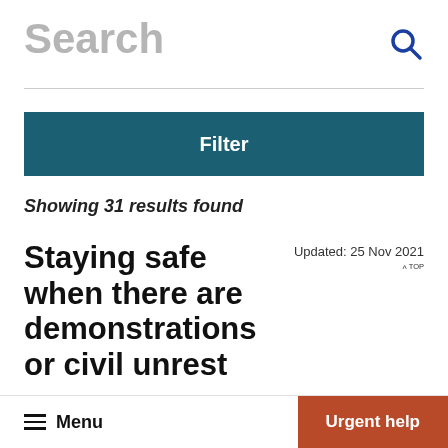Search
Filter
Showing 31 results found
Staying safe when there are demonstrations or civil unrest
Updated: 25 Nov 2021
Civil unrest is conflict between different groups of
Menu  Urgent help